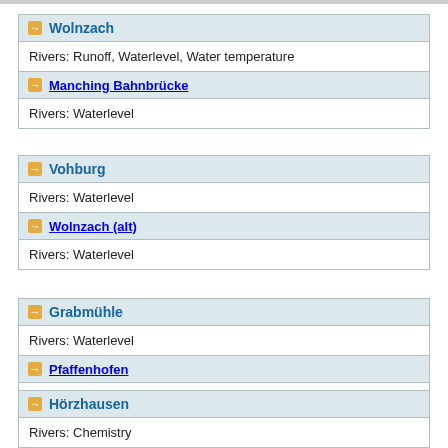Wolnzach — Rivers: Runoff, Waterlevel, Water temperature
Manching Bahnbrücke — Rivers: Waterlevel
Vohburg — Rivers: Waterlevel
Wolnzach (alt) — Rivers: Waterlevel
Grabmühle — Rivers: Waterlevel
Pfaffenhofen — Rivers: Waterlevel
Hörzhausen — Rivers: Chemistry
Br. Dünzlau